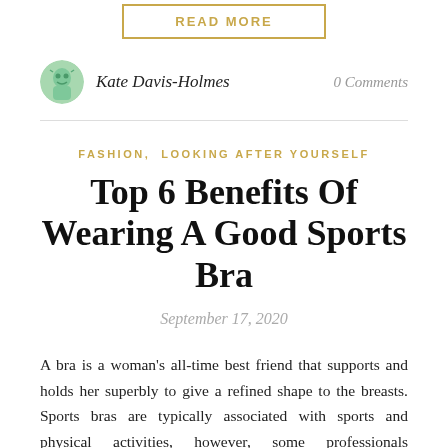READ MORE
Kate Davis-Holmes
0 Comments
FASHION, LOOKING AFTER YOURSELF
Top 6 Benefits Of Wearing A Good Sports Bra
September 17, 2020
A bra is a woman's all-time best friend that supports and holds her superbly to give a refined shape to the breasts. Sports bras are typically associated with sports and physical activities, however, some professionals recommend wearing these even on casual days. Sports bra makes you feel confident, motivates you to do better, and